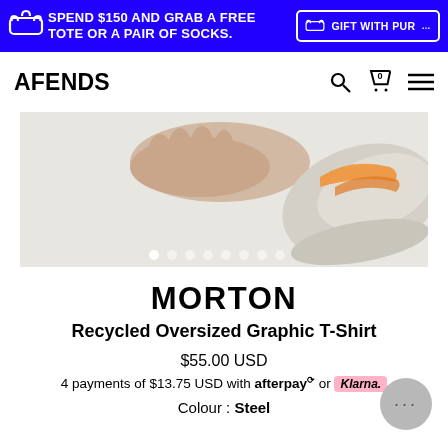SPEND $150 AND GRAB A FREE TOTE OR A PAIR OF SOCKS.  GIFT WITH PURCHASE
AFENDS
[Figure (photo): Hero product photo showing hands and a sneaker shoe with orange and grey colors on a light background, with carousel navigation dots at the bottom]
MORTON
Recycled Oversized Graphic T-Shirt
$55.00 USD
4 payments of $13.75 USD with afterpay or Klarna.
Colour : Steel